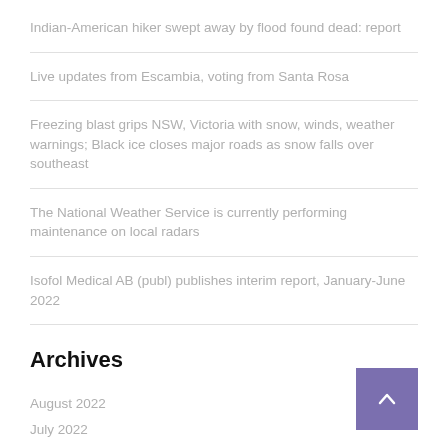Indian-American hiker swept away by flood found dead: report
Live updates from Escambia, voting from Santa Rosa
Freezing blast grips NSW, Victoria with snow, winds, weather warnings; Black ice closes major roads as snow falls over southeast
The National Weather Service is currently performing maintenance on local radars
Isofol Medical AB (publ) publishes interim report, January-June 2022
Archives
August 2022
July 2022
June 2022
May 2022